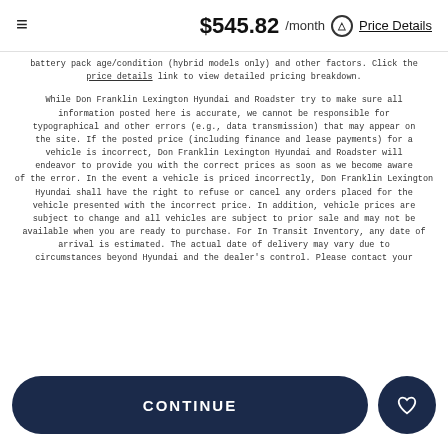≡   $545.82 /month ⊙ Price Details
battery pack age/condition (hybrid models only) and other factors. Click the price details link to view detailed pricing breakdown.
While Don Franklin Lexington Hyundai and Roadster try to make sure all information posted here is accurate, we cannot be responsible for typographical and other errors (e.g., data transmission) that may appear on the site. If the posted price (including finance and lease payments) for a vehicle is incorrect, Don Franklin Lexington Hyundai and Roadster will endeavor to provide you with the correct prices as soon as we become aware of the error. In the event a vehicle is priced incorrectly, Don Franklin Lexington Hyundai shall have the right to refuse or cancel any orders placed for the vehicle presented with the incorrect price. In addition, vehicle prices are subject to change and all vehicles are subject to prior sale and may not be available when you are ready to purchase. For In Transit Inventory, any date of arrival is estimated. The actual date of delivery may vary due to circumstances beyond Hyundai and the dealer's control. Please contact your
CONTINUE